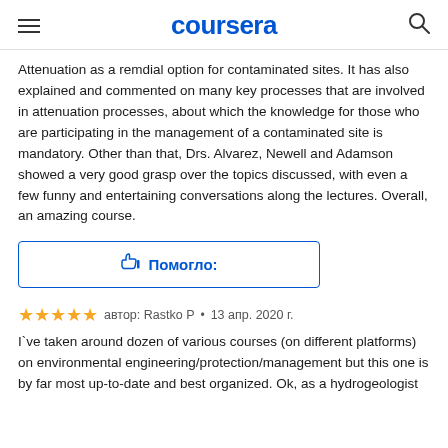coursera
Attenuation as a remdial option for contaminated sites. It has also explained and commented on many key processes that are involved in attenuation processes, about which the knowledge for those who are participating in the management of a contaminated site is mandatory. Other than that, Drs. Alvarez, Newell and Adamson showed a very good grasp over the topics discussed, with even a few funny and entertaining conversations along the lectures. Overall, an amazing course.
👍 Помогло:
★★★★★ автор: Rastko P • 13 апр. 2020 г.
I`ve taken around dozen of various courses (on different platforms) on environmental engineering/protection/management but this one is by far most up-to-date and best organized. Ok, as a hydrogeologist